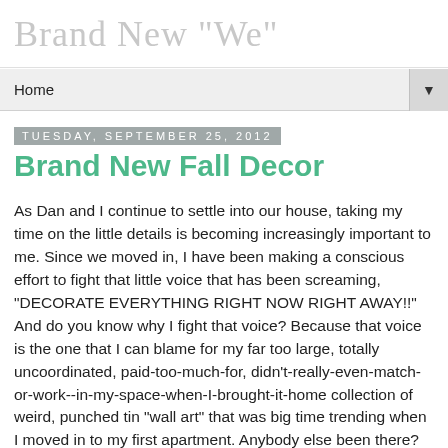Brand New "We"
Home
Tuesday, September 25, 2012
Brand New Fall Decor
As Dan and I continue to settle into our house, taking my time on the little details is becoming increasingly important to me. Since we moved in, I have been making a conscious effort to fight that little voice that has been screaming, "DECORATE EVERYTHING RIGHT NOW RIGHT AWAY!!" And do you know why I fight that voice? Because that voice is the one that I can blame for my far too large, totally uncoordinated, paid-too-much-for, didn't-really-even-match-or-work--in-my-space-when-I-brought-it-home collection of weird, punched tin "wall art" that was big time trending when I moved in to my first apartment. Anybody else been there? Anybody also sound in to that awful pressure that is a new